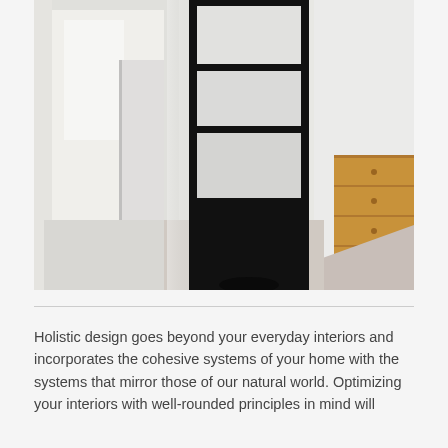[Figure (photo): Interior bedroom photo showing a tall black-framed glass sliding door or room divider with frosted white glass panels. A wooden dresser is visible on the right side, and a bed with light-colored bedding is partially visible in the foreground. The room has white walls and light flooring.]
Holistic design goes beyond your everyday interiors and incorporates the cohesive systems of your home with the systems that mirror those of our natural world. Optimizing your interiors with well-rounded principles in mind will